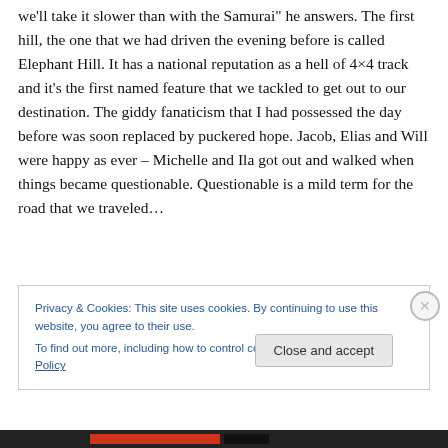we'll take it slower than with the Samurai" he answers. The first hill, the one that we had driven the evening before is called Elephant Hill. It has a national reputation as a hell of 4×4 track and it's the first named feature that we tackled to get out to our destination. The giddy fanaticism that I had possessed the day before was soon replaced by puckered hope. Jacob, Elias and Will were happy as ever – Michelle and Ila got out and walked when things became questionable. Questionable is a mild term for the road that we traveled…
Privacy & Cookies: This site uses cookies. By continuing to use this website, you agree to their use.
To find out more, including how to control cookies, see here: Cookie Policy